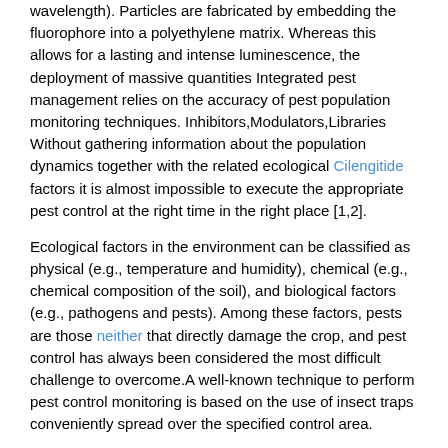wavelength). Particles are fabricated by embedding the fluorophore into a polyethylene matrix. Whereas this allows for a lasting and intense luminescence, the deployment of massive quantities Integrated pest management relies on the accuracy of pest population monitoring techniques. Inhibitors,Modulators,Libraries Without gathering information about the population dynamics together with the related ecological Cilengitide factors it is almost impossible to execute the appropriate pest control at the right time in the right place [1,2].
Ecological factors in the environment can be classified as physical (e.g., temperature and humidity), chemical (e.g., chemical composition of the soil), and biological factors (e.g., pathogens and pests). Among these factors, pests are those neither that directly damage the crop, and pest control has always been considered the most difficult challenge to overcome.A well-known technique to perform pest control monitoring is based on the use of insect traps conveniently spread over the specified control area.